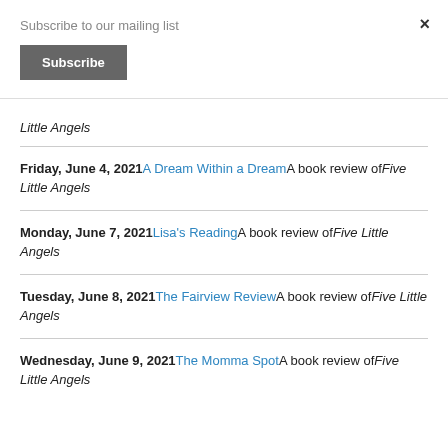Subscribe to our mailing list
Subscribe
Little Angels
Friday, June 4, 2021 A Dream Within a Dream A book review of Five Little Angels
Monday, June 7, 2021 Lisa's Reading A book review of Five Little Angels
Tuesday, June 8, 2021 The Fairview Review A book review of Five Little Angels
Wednesday, June 9, 2021 The Momma Spot A book review of Five Little Angels